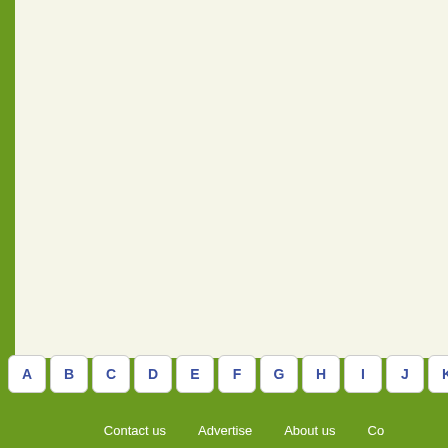[Figure (screenshot): Main content area with light cream/off-white background and green left border, appears to be a web page content region]
A B C D E F G H I J K L M  |  Contact us  Advertise  About us  Co